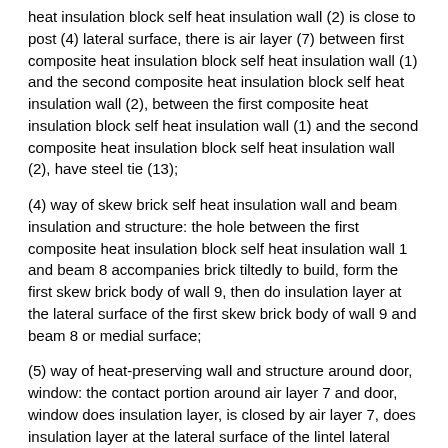heat insulation block self heat insulation wall (2) is close to post (4) lateral surface, there is air layer (7) between first composite heat insulation block self heat insulation wall (1) and the second composite heat insulation block self heat insulation wall (2), between the first composite heat insulation block self heat insulation wall (1) and the second composite heat insulation block self heat insulation wall (2), have steel tie (13);
(4) way of skew brick self heat insulation wall and beam insulation and structure: the hole between the first composite heat insulation block self heat insulation wall 1 and beam 8 accompanies brick tiltedly to build, form the first skew brick body of wall 9, then do insulation layer at the lateral surface of the first skew brick body of wall 9 and beam 8 or medial surface;
(5) way of heat-preserving wall and structure around door, window: the contact portion around air layer 7 and door, window does insulation layer, is closed by air layer 7, does insulation layer at the lateral surface of the lintel lateral surface on door top and the lintel 21 on window top;
(6) way of lintel upper end and body of wall top cast-in-situ